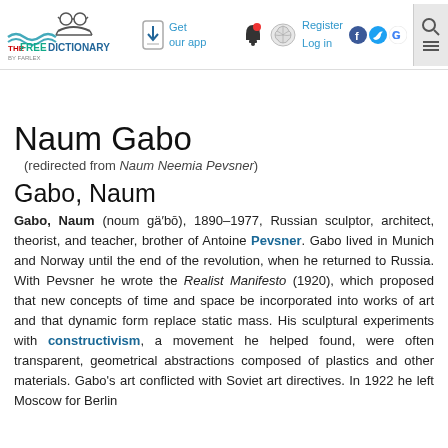TheFreeDictionary by Farlex — Get our app — Register Log in
Naum Gabo (redirected from Naum Neemia Pevsner)
Gabo, Naum
Gabo, Naum (noum gä′bō), 1890–1977, Russian sculptor, architect, theorist, and teacher, brother of Antoine Pevsner. Gabo lived in Munich and Norway until the end of the revolution, when he returned to Russia. With Pevsner he wrote the Realist Manifesto (1920), which proposed that new concepts of time and space be incorporated into works of art and that dynamic form replace static mass. His sculptural experiments with constructivism, a movement he helped found, were often transparent, geometrical abstractions composed of plastics and other materials. Gabo's art conflicted with Soviet art directives. In 1922 he left Moscow for Berlin